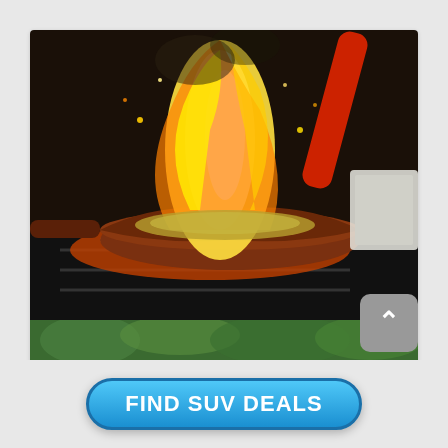[Figure (photo): A flaming pan/wok being cooked on a stove with a red spatula handle visible, fire and smoke rising from the pan]
Top 10 Best Places to Eat in Denmark Before you Die
May 7, 2019   Germany
[Figure (photo): Partial view of a second image at the bottom of the page showing green foliage]
FIND SUV DEALS